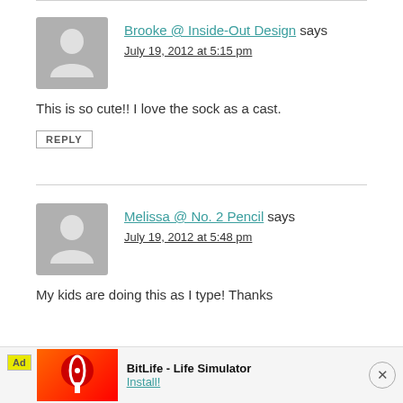[Figure (other): Gray avatar placeholder with person silhouette icon for Brooke comment]
Brooke @ Inside-Out Design says
July 19, 2012 at 5:15 pm
This is so cute!! I love the sock as a cast.
REPLY
[Figure (other): Gray avatar placeholder with person silhouette icon for Melissa comment]
Melissa @ No. 2 Pencil says
July 19, 2012 at 5:48 pm
My kids are doing this as I type! Thanks
[Figure (other): BitLife - Life Simulator advertisement banner at bottom of page]